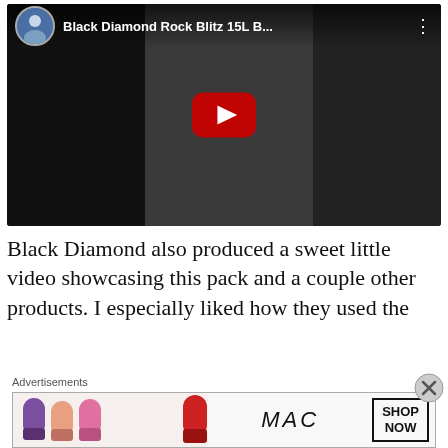[Figure (screenshot): YouTube video thumbnail for 'Black Diamond Rock Blitz 15L B...' showing a person sitting on a rock with climbing rope, with a red play button in the center.]
Black Diamond also produced a sweet little video showcasing this pack and a couple other products. I especially liked how they used the
[Figure (photo): MAC Cosmetics advertisement banner showing lipsticks in purple, pink, and red colors, the MAC logo in italic, and a 'SHOP NOW' button.]